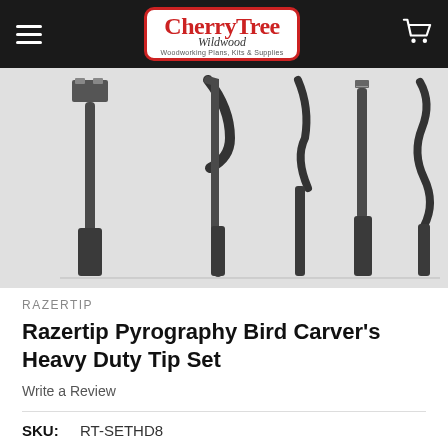CherryTree Wildwood – Woodworking Plans, Kits & Supplies
[Figure (photo): Multiple pyrography burning tips with various shaped heads (flat chisel, curved, angled, straight, wavy) shown from top view against a white background]
RAZERTIP
Razertip Pyrography Bird Carver's Heavy Duty Tip Set
Write a Review
SKU: RT-SETHD8
MPN: SETHD8